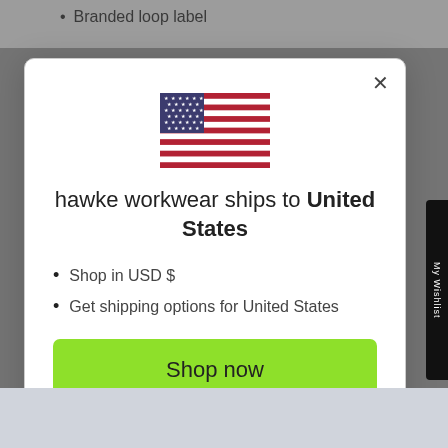Branded loop label
[Figure (illustration): US flag SVG illustration]
hawke workwear ships to United States
Shop in USD $
Get shipping options for United States
Shop now
Change shipping country